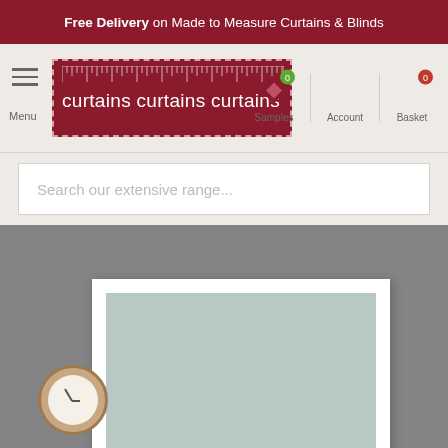Free Delivery on Made to Measure Curtains & Blinds
[Figure (screenshot): Website navigation bar with hamburger menu, curtains curtains curtains logo, Samples, Account, and Basket icons]
Search our extensive range...
[Figure (photo): Product photo showing a roller blind in light blue/sage color mounted in a white frame against a grey wall, with a round wooden clock visible at the bottom left]